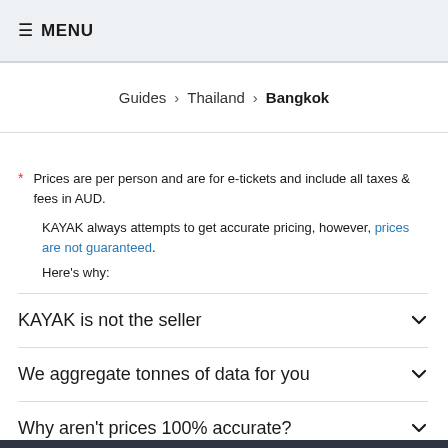≡ MENU
Guides › Thailand › Bangkok
* Prices are per person and are for e-tickets and include all taxes & fees in AUD.
KAYAK always attempts to get accurate pricing, however, prices are not guaranteed.
Here's why:
KAYAK is not the seller
We aggregate tonnes of data for you
Why aren't prices 100% accurate?